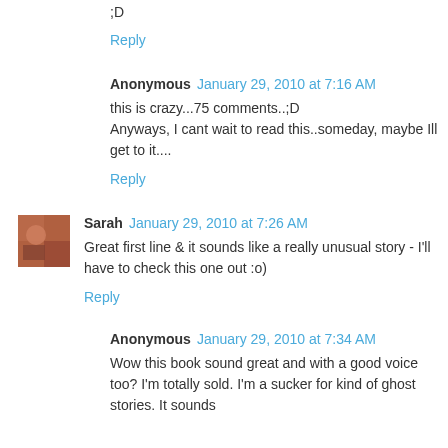;D
Reply
Anonymous  January 29, 2010 at 7:16 AM
this is crazy...75 comments..;D
Anyways, I cant wait to read this..someday, maybe Ill get to it....
Reply
Sarah  January 29, 2010 at 7:26 AM
Great first line & it sounds like a really unusual story - I'll have to check this one out :o)
Reply
Anonymous  January 29, 2010 at 7:34 AM
Wow this book sound great and with a good voice too? I'm totally sold. I'm a sucker for kind of ghost stories. It sounds